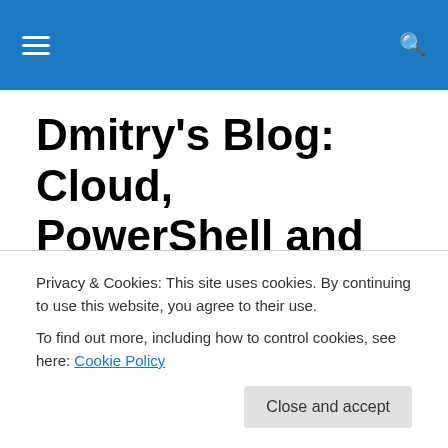Navigation header bar with hamburger menu and search icon
Dmitry's Blog: Cloud, PowerShell and beyond
Dmitry Sotnikov's view on Cloud, PowerShell, PowerGUI and everything he sees around
Groove strikes back: Live Mesh
Privacy & Cookies: This site uses cookies. By continuing to use this website, you agree to their use.
To find out more, including how to control cookies, see here: Cookie Policy